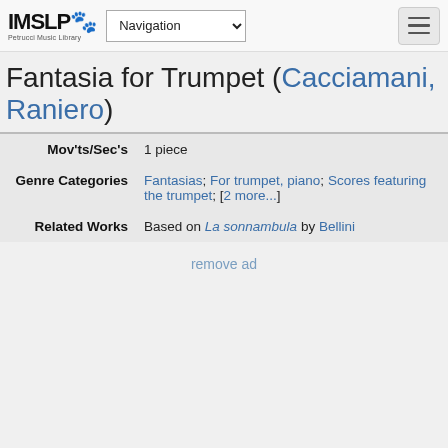IMSLP Petrucci Music Library | Navigation | [hamburger menu]
Fantasia for Trumpet (Cacciamani, Raniero)
| Field | Value |
| --- | --- |
| Mov'ts/Sec's | 1 piece |
| Genre Categories | Fantasias; For trumpet, piano; Scores featuring the trumpet; [2 more...] |
| Related Works | Based on La sonnambula by Bellini |
remove ad